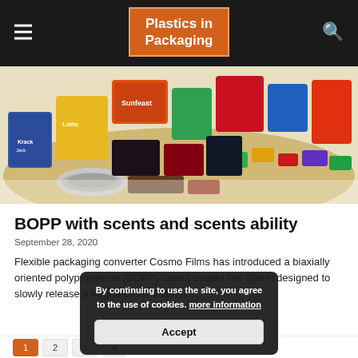Plastics in Packaging
[Figure (photo): A large pile of colorful consumer packaged goods including snack foods, biscuit boxes, chocolate bars, and other retail packages in bright colors.]
BOPP with scents and scents ability
September 28, 2020
Flexible packaging converter Cosmo Films has introduced a biaxially oriented polypropylene (BOPP)-based coated film that is designed to slowly release a fragrance. The film is…
By continuing to use the site, you agree to the use of cookies. more information
Accept